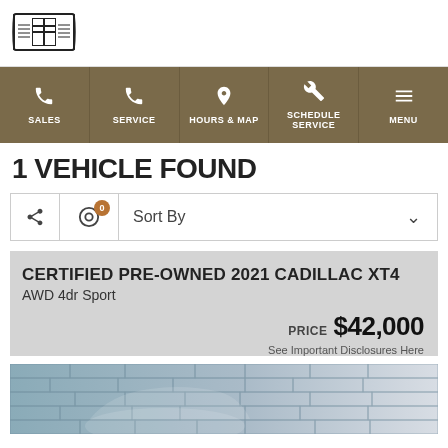[Figure (logo): Cadillac crest logo in black and white]
SALES | SERVICE | HOURS & MAP | SCHEDULE SERVICE | MENU
1 VEHICLE FOUND
Sort By
CERTIFIED PRE-OWNED 2021 CADILLAC XT4
AWD 4dr Sport
PRICE $42,000
See Important Disclosures Here
[Figure (photo): Partial photo of a Cadillac XT4 vehicle in front of a stone wall background]